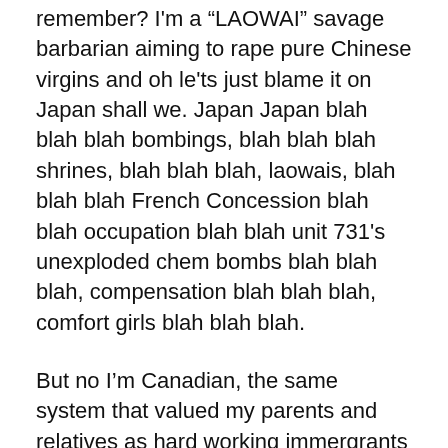remember? I'm a “LAOWAI” savage barbarian aiming to rape pure Chinese virgins and oh le'ts just blame it on Japan shall we. Japan Japan blah blah blah bombings, blah blah blah shrines, blah blah blah, laowais, blah blah blah French Concession blah blah occupation blah blah unit 731's unexploded chem bombs blah blah blah, compensation blah blah blah, comfort girls blah blah blah.
But no I’m Canadian, the same system that valued my parents and relatives as hard working immergrants starting life on a new part of the planet, paid off dividends to the country (or I did anyways, saved over 130 Calgarian lives, 3 Edmontonian and 3 Vancouverites (well considering if the emergency healing operations were successful, with Canada’s modernized healthcare (American machinery yayee G.E.), I seek to do leadership courses so I can help Calgary grow. Now the really crazy